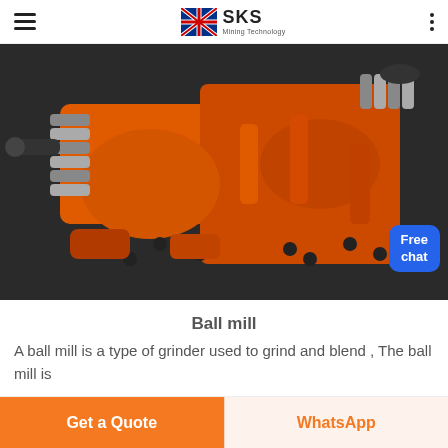SKS Mining Technology
[Figure (photo): Close-up photo of an orange-painted ball mill machine showing springs, rollers, bolts, and mechanical components against a dark background. A 'Free chat' badge appears in the bottom-right corner of the image.]
Ball mill
A ball mill is a type of grinder used to grind and blend , The ball mill is